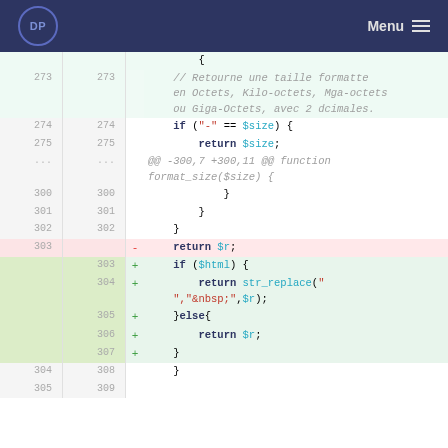DP  Menu
[Figure (screenshot): Code diff view showing PHP function format_size with lines 273-309, with removed line 303 'return $r;' and added lines 303-307 adding $html conditional logic with str_replace for non-breaking spaces.]